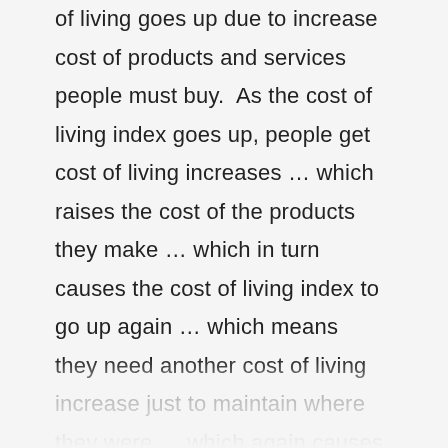of living goes up due to increase cost of products and services people must buy.  As the cost of living index goes up, people get cost of living increases … which raises the cost of the products they make … which in turn causes the cost of living index to go up again … which means they need another cost of living increase just to maintain where they were … which again causes the cost of products they make to